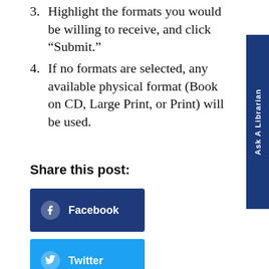3. Highlight the formats you would be willing to receive, and click “Submit.”
4. If no formats are selected, any available physical format (Book on CD, Large Print, or Print) will be used.
Share this post:
Facebook
Twitter
LinkedIn